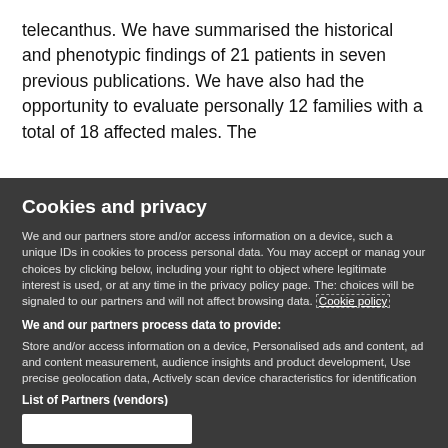telecanthus. We have summarised the historical and phenotypic findings of 21 patients in seven previous publications. We have also had the opportunity to evaluate personally 12 families with a total of 18 affected males. The
Cookies and privacy
We and our partners store and/or access information on a device, such a unique IDs in cookies to process personal data. You may accept or manage your choices by clicking below, including your right to object where legitimate interest is used, or at any time in the privacy policy page. These choices will be signaled to our partners and will not affect browsing data. Cookie policy
We and our partners process data to provide:
Store and/or access information on a device, Personalised ads and content, ad and content measurement, audience insights and product development, Use precise geolocation data, Actively scan device characteristics for identification
List of Partners (vendors)